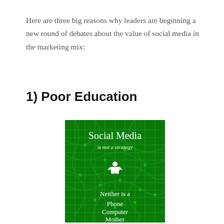Here are three big reasons why leaders are beginning a new round of debates about the value of social media in the marketing mix:
1) Poor Education
[Figure (illustration): Book cover or promotional image with green circuit board background. Text reads: 'Social Media is not a strategy' with a white bird/person icon, then 'Neither is a Phone Computer Mother' at the bottom.]